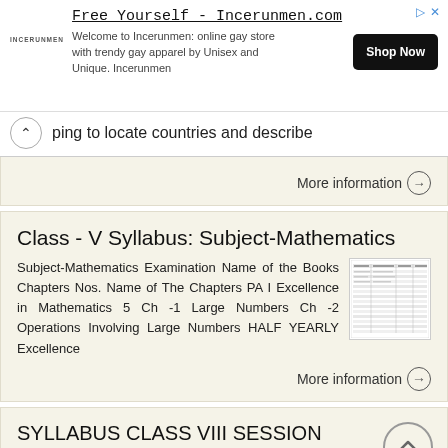[Figure (screenshot): Advertisement banner for Incerunmen.com - Free Yourself online gay store with Shop Now button]
ping to locate countries and describe
More information →
Class - V Syllabus: Subject-Mathematics
Subject-Mathematics Examination Name of the Books Chapters Nos. Name of The Chapters PA I Excellence in Mathematics 5 Ch -1 Large Numbers Ch -2 Operations Involving Large Numbers HALF YEARLY Excellence
More information →
SYLLABUS CLASS VIII SESSION English
SYLLABUS CLASS VIII SESSION 2018-19